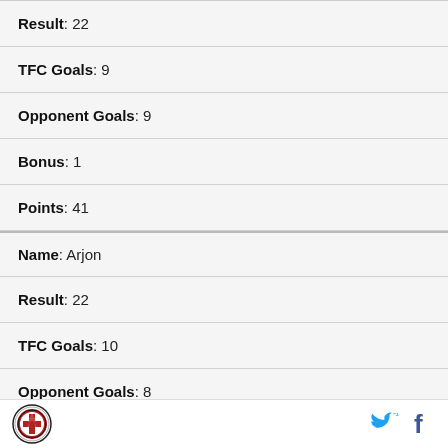Result : 22
TFC Goals : 9
Opponent Goals : 9
Bonus : 1
Points : 41
Name : Arjon
Result : 22
TFC Goals : 10
Opponent Goals : 8
Bonus : 1
Points : 41
TFC logo, Twitter, Facebook